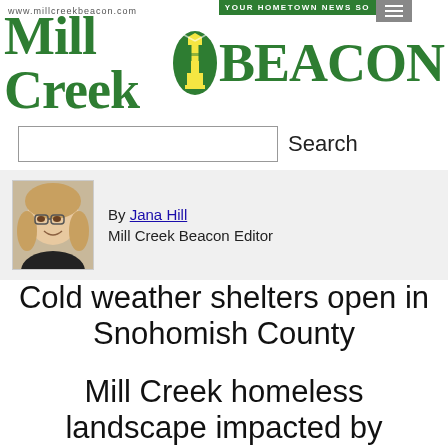www.millcreekbeacon.com | YOUR HOMETOWN NEWS SO
Mill Creek BEACON
Search
[Figure (photo): Headshot photo of Jana Hill, woman with glasses and blonde wavy hair, smiling]
By Jana Hill
Mill Creek Beacon Editor
Cold weather shelters open in Snohomish County
Mill Creek homeless landscape impacted by